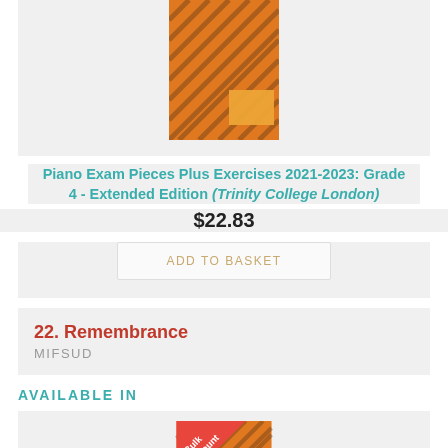[Figure (illustration): Orange book cover with black diagonal stripes for Piano Exam Pieces Plus Exercises 2021-2023 Grade 4 Extended Edition]
Piano Exam Pieces Plus Exercises 2021-2023: Grade 4 - Extended Edition (Trinity College London)
$22.83
ADD TO BASKET
22. Remembrance
MIFSUD
AVAILABLE IN
[Figure (illustration): Orange book cover with black diagonal stripes and a red Bulk Discount banner in the top-left corner]